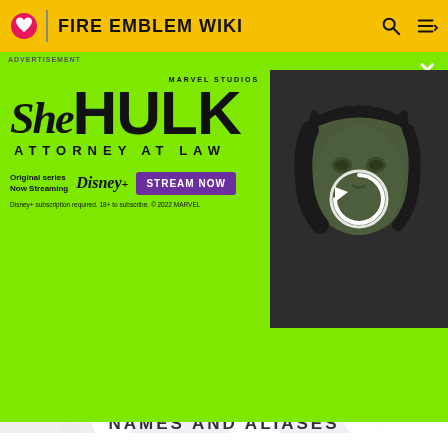FIRE EMBLEM WIKI
[Figure (screenshot): Advertisement overlay for She-Hulk: Attorney at Law on Disney+. Green background with She-Hulk Marvel Studios logo, Disney+ streaming info, and a photo of the She-Hulk actress with a reload icon overlay.]
[Figure (illustration): Fire Emblem character artwork showing a figure with long dark hair wearing purple and gold armor/cape, riding a white horse, wielding a sword. White background.]
NAMES AND ALIASES